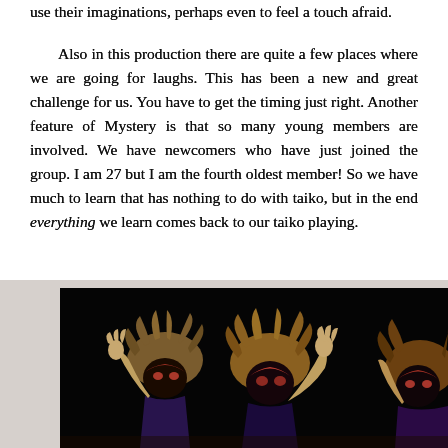use their imaginations, perhaps even to feel a touch afraid.
Also in this production there are quite a few places where we are going for laughs. This has been a new and great challenge for us. You have to get the timing just right. Another feature of Mystery is that so many young members are involved. We have newcomers who have just joined the group. I am 27 but I am the fourth oldest member! So we have much to learn that has nothing to do with taiko, but in the end everything we learn comes back to our taiko playing.
[Figure (photo): Three performers in costumes with wild hair and face masks/makeup, arms raised, photographed from behind against a black background on stage.]